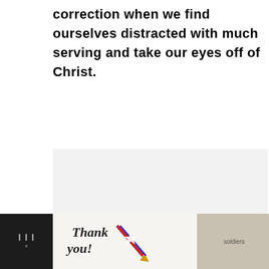correction when we find ourselves distracted with much serving and take our eyes off of Christ.
[Figure (other): Light gray placeholder rectangle representing an image area in the article body]
[Figure (other): Advertisement banner at the bottom: 'Thank you!' text with patriotic pencil graphic, soldiers in military gear photo, and 'Operation Gratitude' logo with star-and-stripes design, on a dark background]